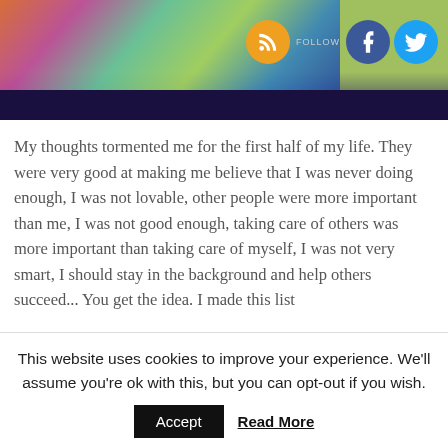[Figure (screenshot): Website banner header with colorful artistic background image on left, dark bottom strip, and social media icons (RSS, Facebook, Twitter) with FOLLOW label on the right side.]
My thoughts tormented me for the first half of my life. They were very good at making me believe that I was never doing enough, I was not lovable, other people were more important than me, I was not good enough, taking care of others was more important than taking care of myself, I was not very smart, I should stay in the background and help others succeed... You get the idea. I made this list
This website uses cookies to improve your experience. We'll assume you're ok with this, but you can opt-out if you wish.
Accept   Read More